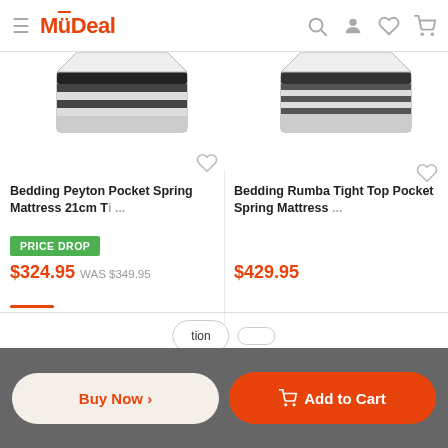MyDeal
[Figure (screenshot): Partial top view of a mattress product image on the left card]
[Figure (screenshot): Partial top view of a mattress product image on the right card]
Bedding Peyton Pocket Spring Mattress 21cm Ti ...
PRICE DROP
$324.95 WAS $349.95
Bedding Rumba Tight Top Pocket Spring Mattress ...
$429.95
tion
Buy Now >
Add to Cart